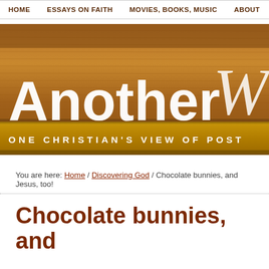HOME   ESSAYS ON FAITH   MOVIES, BOOKS, MUSIC   ABOUT
[Figure (illustration): Website banner with wood-grain texture background in orange-brown tones. Large white bold text reads 'Another W' (partially cut off). Cursive white script overlaps. A gold banner strip at the bottom reads 'ONE CHRISTIAN'S VIEW OF POST' (partially cut off).]
You are here: Home / Discovering God / Chocolate bunnies, and Jesus, too!
Chocolate bunnies, and